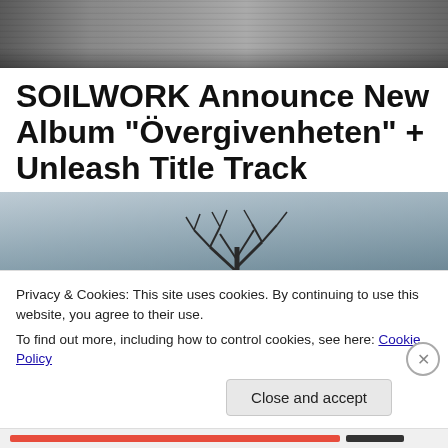[Figure (photo): Top banner photo of a road or corridor in dark/grey tones]
SOILWORK Announce New Album “Övergivenheten” + Unleash Title Track
[Figure (photo): Band photo of Soilwork members standing outdoors with a bare tree behind them against a dramatic grey sky]
Privacy & Cookies: This site uses cookies. By continuing to use this website, you agree to their use.
To find out more, including how to control cookies, see here: Cookie Policy